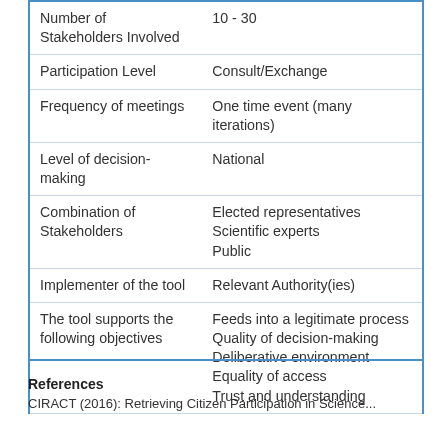|  |  |
| --- | --- |
| Number of Stakeholders Involved | 10 - 30 |
| Participation Level | Consult/Exchange |
| Frequency of meetings | One time event (many iterations) |
| Level of decision-making | National |
| Combination of Stakeholders | Elected representatives
Scientific experts
Public |
| Implementer of the tool | Relevant Authority(ies) |
| The tool supports the following objectives | Feeds into a legitimate process
Quality of decision-making
Deliberative environment
Equality of access
Trust and understanding |
References
CIRACT (2016): Retrieving Citizen Participation in Science...